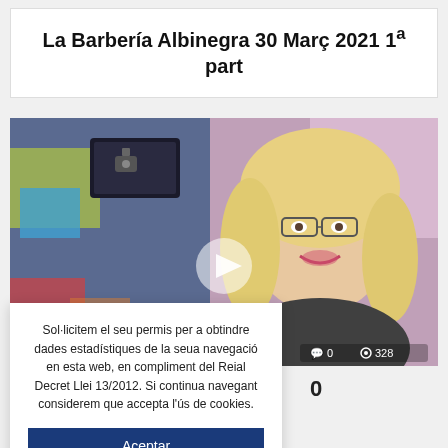La Barbería Albinegra 30 Març 2021 1ª part
[Figure (screenshot): Video thumbnail showing a woman with blonde hair and glasses smiling, with a colorful TV studio background and a play button overlay. Stats show 0 comments and 328 views.]
Sol·licitem el seu permis per a obtindre dades estadístiques de la seua navegació en esta web, en compliment del Reial Decret Llei 13/2012. Si continua navegant considerem que accepta l'ús de cookies.
Aceptar
Més info